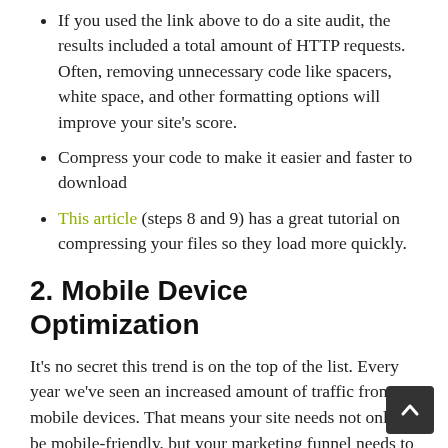If you used the link above to do a site audit, the results included a total amount of HTTP requests. Often, removing unnecessary code like spacers, white space, and other formatting options will improve your site's score.
Compress your code to make it easier and faster to download
This article (steps 8 and 9) has a great tutorial on compressing your files so they load more quickly.
2. Mobile Device Optimization
It's no secret this trend is on the top of the list. Every year we've seen an increased amount of traffic from mobile devices. That means your site needs not only to be mobile-friendly, but your marketing funnel needs to take the perspective of a mobile user into account.
The easiest way to know if your site is optimized for mobile is by visiting it yourself. First, run a complete tes